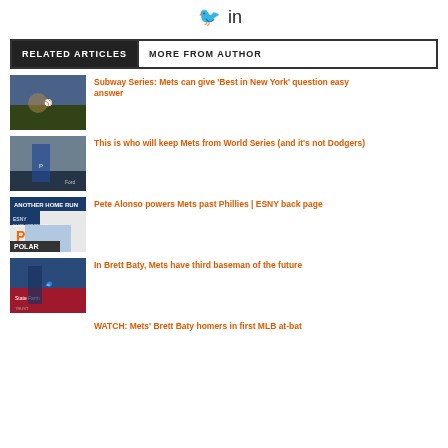[Figure (infographic): Social media icons: Twitter bird and LinkedIn logo]
RELATED ARTICLES | MORE FROM AUTHOR
[Figure (photo): Baseball game crowd and pitcher on field]
Subway Series: Mets can give ‘Best in New York’ question easy answer
[Figure (photo): Baseball pitcher in blue uniform with Ford advertisement behind]
This is who will keep Mets from World Series (and it’s not Dodgers)
[Figure (photo): ESNY magazine cover with Pete Alonso and POLAR text]
Pete Alonso powers Mets past Phillies | ESNY back page
[Figure (photo): Baseball player at State Farm stadium]
In Brett Baty, Mets have third baseman of the future
WATCH: Mets’ Brett Baty homers in first MLB at-bat